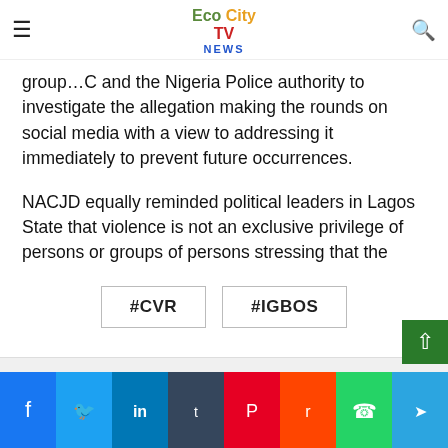Eco City TV News
group...C and the Nigeria Police authority to investigate the allegation making the rounds on social media with a view to addressing it immediately to prevent future occurrences.
NACJD equally reminded political leaders in Lagos State that violence is not an exclusive privilege of persons or groups of persons stressing that the wanton destruction of properties in Nigeria should have taught Nigerians that violence pays no one.
#CVR
#IGBOS
Share buttons: Facebook, Twitter, LinkedIn, Tumblr, Pinterest, Reddit, WhatsApp, Telegram